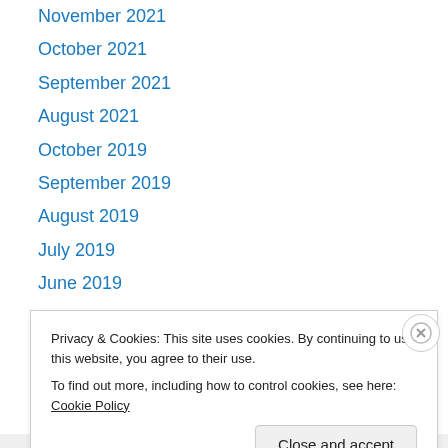November 2021
October 2021
September 2021
August 2021
October 2019
September 2019
August 2019
July 2019
June 2019
May 2019
April 2019
March 2019
February 2019
Privacy & Cookies: This site uses cookies. By continuing to use this website, you agree to their use. To find out more, including how to control cookies, see here: Cookie Policy